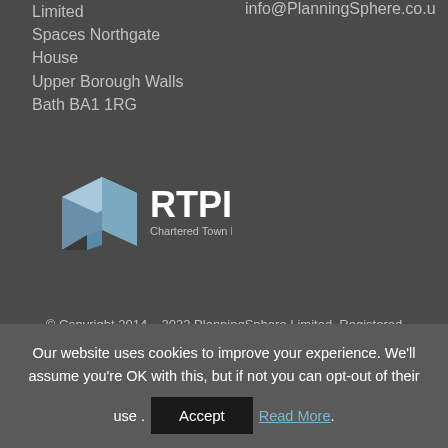Limited
Spaces Northgate House
Upper Borough Walls
Bath BA1 1RG
info@PlanningSphere.co.u
[Figure (logo): RTPI Chartered Town Planners logo with blue geometric shape and bold RTPI text]
© Copyright 2014 – 2022 PlanningSphere Limited. Registered in England at the address shown above.
Our website uses cookies to improve your experience. We'll assume you're OK with this, but if not you can opt-out of their use . Accept Read More.